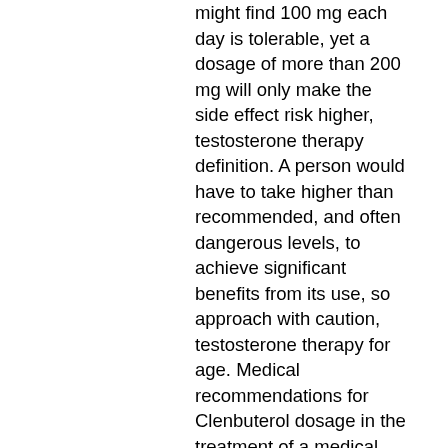might find 100 mg each day is tolerable, yet a dosage of more than 200 mg will only make the side effect risk higher, testosterone therapy definition. A person would have to take higher than recommended, and often dangerous levels, to achieve significant benefits from its use, so approach with caution, testosterone therapy for age. Medical recommendations for Clenbuterol dosage in the treatment of a medical issue is approximately 20 mcg a day. Because people often combine an aromatizing steroid like testosterone with Tren, anti-estrogen treatment is often still undertaken and post cycle therapy (PCT) is still mandatory following a Tren cycle. Parabolan (Tren-Hex) The three main forms or esters of Trenbolone are Trenbolone Enanthate, Trenbolone Acetate and Trenbolone hexahydrobenzylcarbonate (Tren-Hex for short or Parabolan as the brand name), testosterone therapy lupus. That is why you